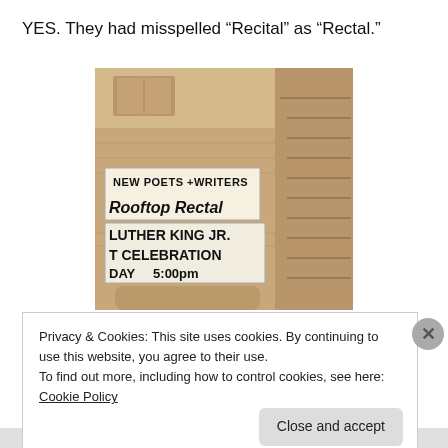YES. They had misspelled “Recital” as “Rectal.”
[Figure (photo): Sepia-toned photograph of a brick building exterior with two banners. The upper banner reads 'NEW POETS + WRITERS Rooftop Rectal' (misspelled). The lower banner reads 'LUTHER KING JR. T CELEBRATION DAY 5:00pm'.]
Privacy & Cookies: This site uses cookies. By continuing to use this website, you agree to their use.
To find out more, including how to control cookies, see here: Cookie Policy